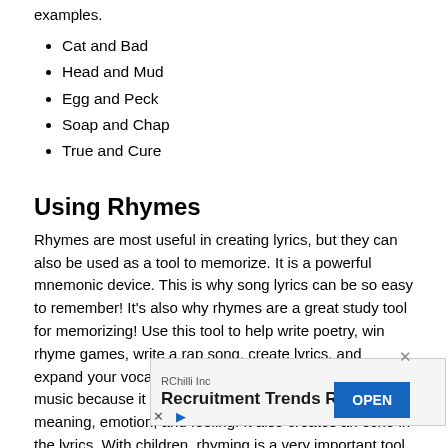examples.
Cat and Bad
Head and Mud
Egg and Peck
Soap and Chap
True and Cure
Using Rhymes
Rhymes are most useful in creating lyrics, but they can also be used as a tool to memorize. It is a powerful mnemonic device. This is why song lyrics can be so easy to remember! It’s also why rhymes are a great study tool for memorizing! Use this tool to help write poetry, win rhyme games, write a rap song, create lyrics, and expand your vocabulary! Rhyming is very important in music because it creates a rhythm that further creates meaning, emotion, and feeling. It also creates an echo in the lyrics. With children, rhyming is a very important tool. Rhyming teaches children how language works, helps them understand the rhythm of language, and lear… teach children… emory. Within all contexts, rhyming is helpful in expanding your
[Figure (other): Advertisement banner: RChilli Inc - Recruitment Trends Report with OPEN button]